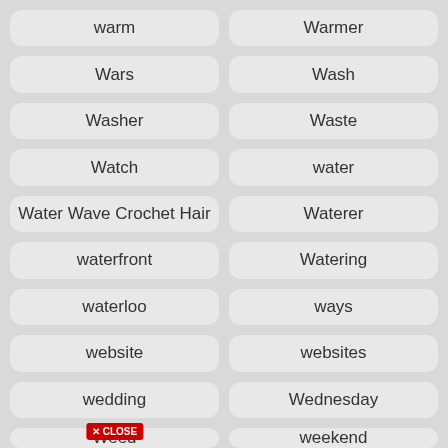warm
Warmer
Wars
Wash
Washer
Waste
Watch
water
Water Wave Crochet Hair
Waterer
waterfront
Watering
waterloo
ways
website
websites
wedding
Wednesday
Weed
weekend